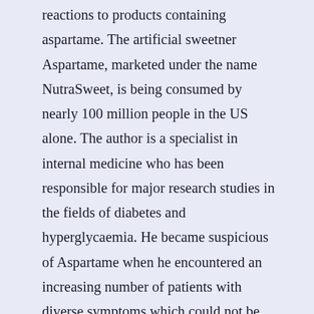reactions to products containing aspartame. The artificial sweetner Aspartame, marketed under the name NutraSweet, is being consumed by nearly 100 million people in the US alone. The author is a specialist in internal medicine who has been responsible for major research studies in the fields of diabetes and hyperglycaemia. He became suspicious of Aspartame when he encountered an increasing number of patients with diverse symptoms which could not be attributable to specific medical problems. This book presents his findings which were arrived at through personal clinical encounters as a practising physician and through an